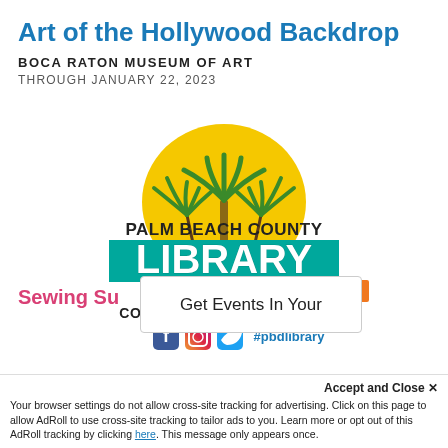Art of the Hollywood Backdrop
BOCA RATON MUSEUM OF ART
THROUGH JANUARY 22, 2023
[Figure (logo): Palm Beach County Library System logo with palm tree, yellow sun, teal LIBRARY text, orange SYSTEM banner, and social media icons with #pbdlibrary. Tagline: CONNECT. INSPIRE. ENRICH.]
Sewing Su
Get Events In Your
Accept and Close ✕
Your browser settings do not allow cross-site tracking for advertising. Click on this page to allow AdRoll to use cross-site tracking to tailor ads to you. Learn more or opt out of this AdRoll tracking by clicking here. This message only appears once.